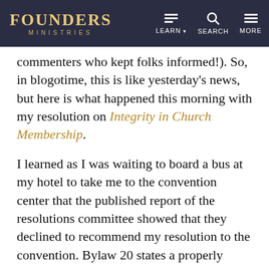FOUNDERS MINISTRIES | LEARN | SEARCH | MORE
commenters who kept folks informed!). So, in blogotime, this is like yesterday's news, but here is what happened this morning with my resolution on Integrity in Church Membership.
I learned as I was waiting to board a bus at my hotel to take me to the convention center that the published report of the resolutions committee showed that they declined to recommend my resolution to the convention. Bylaw 20 states a properly submitted resolution that the committee rejects can nevertheless be considered by the convention if 2/3 of those voting agree. So, I went to microphone #1 and asked for a point of order. President Bobby Welch recognized me and very kindly